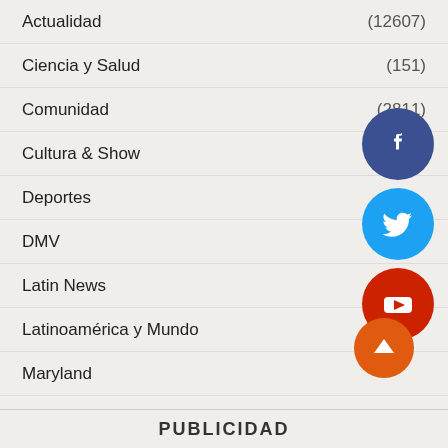Actualidad (12607)
Ciencia y Salud (151)
Comunidad (2811)
Cultura & Show
Deportes
DMV
Latin News
Latinoamérica y Mundo
Maryland
Opinión (2384)
Virginia (78)
[Figure (illustration): Facebook, Twitter, YouTube social media icons (circles) and scroll-to-top orange circle button]
PUBLICIDAD